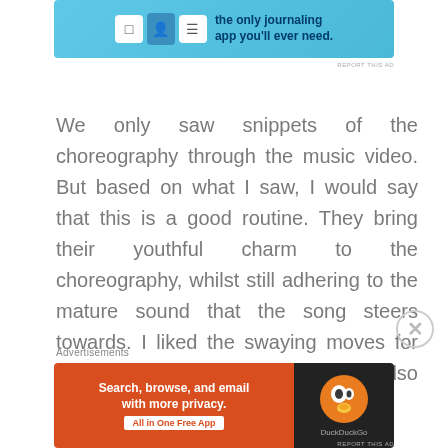[Figure (other): Top advertisement banner with journaling app icons on a light blue background.]
We only saw snippets of the choreography through the music video. But based on what I saw, I would say that this is a good routine. They bring their youthful charm to the choreography, whilst still adhering to the mature sound that the song steers towards. I liked the swaying moves for the chorus hook for its simplicity but also refinement.
Advertisements
[Figure (other): DuckDuckGo advertisement: Search, browse, and email with more privacy. All in One Free App.]